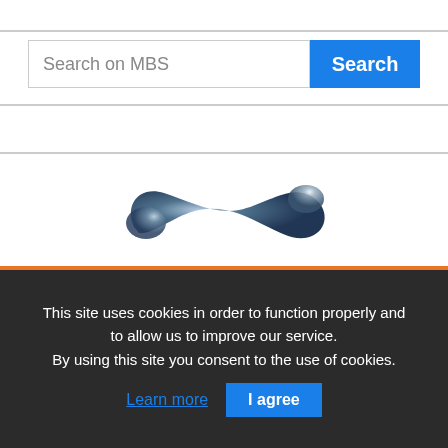[Figure (other): Search bar with text 'Search on MBS' and blue Search button]
[Figure (logo): Micronics logo: metallic fluid S-curve shape above the text 'micronics' and tagline 'Through measurement comes control']
This site uses cookies in order to function properly and to allow us to improve our service.
By using this site you consent to the use of cookies.
Learn more   I agree